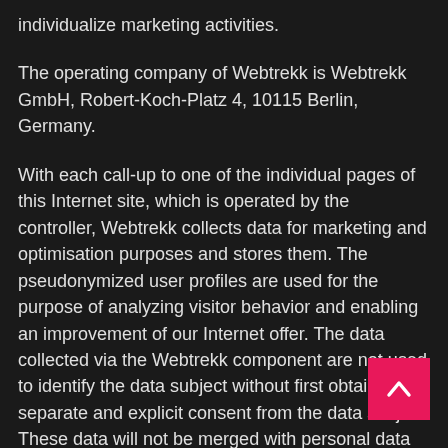individualize marketing activities.
The operating company of Webtrekk is Webtrekk GmbH, Robert-Koch-Platz 4, 10115 Berlin, Germany.
With each call-up to one of the individual pages of this Internet site, which is operated by the controller, Webtrekk collects data for marketing and optimisation purposes and stores them. The pseudonymized user profiles are used for the purpose of analyzing visitor behavior and enabling an improvement of our Internet offer. The data collected via the Webtrekk component are not used to identify the data subject without first obtaining a separate and explicit consent from the data subject. These data will not be merged with personal data or with other data which contains the same pseudonym.
Webtrekk sets a cookie on the information technology system of the data subject. The definition of cookies is explained above. Webtrekk uses the data collected from our